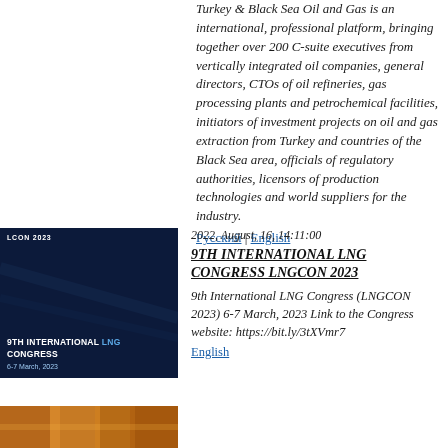Turkey & Black Sea Oil and Gas is an international, professional platform, bringing together over 200 C-suite executives from vertically integrated oil companies, general directors, CTOs of oil refineries, gas processing plants and petrochemical facilities, initiators of investment projects on oil and gas extraction from Turkey and countries of the Black Sea area, officials of regulatory authorities, licensors of production technologies and world suppliers for the industry.
Русский | English
[Figure (other): Dark blue banner for 9th International LNG Congress LNGCON 2023, 6-7 March, 2023]
2022, August, 16, 14:11:00
9TH INTERNATIONAL LNG CONGRESS LNGCON 2023
9th International LNG Congress (LNGCON 2023) 6-7 March, 2023 Link to the Congress website: https://bit.ly/3tXVmr7
English
[Figure (photo): Partial image strip visible at bottom of page, orange/warm toned]